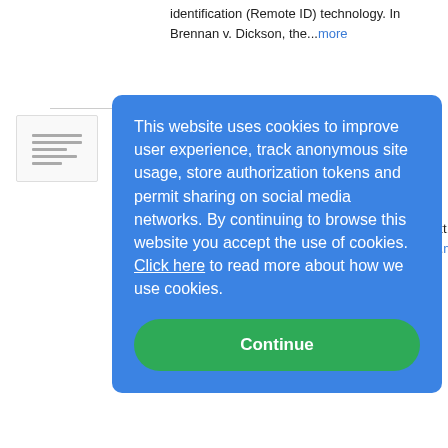identification (Remote ID) technology. In Brennan v. Dickson, the...more
[Figure (illustration): Thumbnail image placeholder for tax law article]
Moments in Tax... v. Macomber | In... Story
Freeman Law on 8/5/2022
In Eisner v. Macomber, the ... that for purposes of the Sixt... was "a gain, a profit, someth... proceeding from the propert... however...more
[Figure (illustration): Thumbnail image for Michigan Supreme Court article with wifi/signal icon]
Michigan Suprem... Decisions Shift S... Landscape for Ju... Young Offenders
Warner Norcross + Judd on 8/5/2022
This website uses cookies to improve user experience, track anonymous site usage, store authorization tokens and permit sharing on social media networks. By continuing to browse this website you accept the use of cookies. Click here to read more about how we use cookies.
Continue